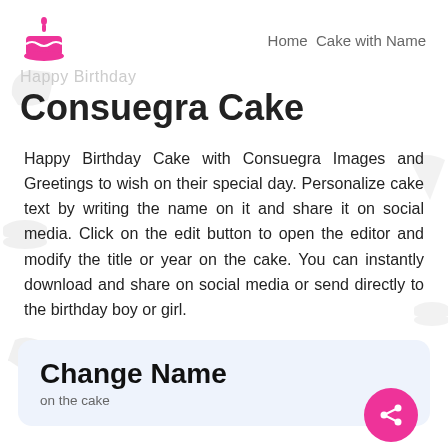Home  Cake with Name
Consuegra Cake
Happy Birthday Cake with Consuegra Images and Greetings to wish on their special day. Personalize cake text by writing the name on it and share it on social media. Click on the edit button to open the editor and modify the title or year on the cake. You can instantly download and share on social media or send directly to the birthday boy or girl.
Change Name
on the cake